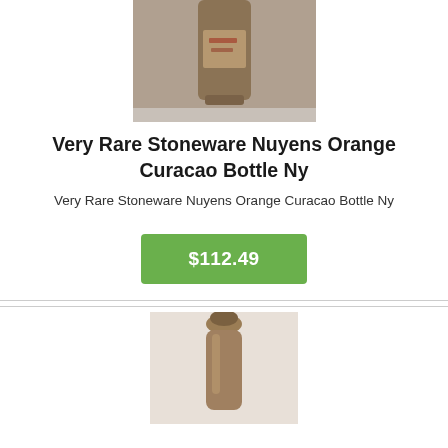[Figure (photo): Top portion of a stoneware bottle, brown/tan colored, with a label partially visible, photographed against a light gray background.]
Very Rare Stoneware Nuyens Orange Curacao Bottle Ny
Very Rare Stoneware Nuyens Orange Curacao Bottle Ny
$112.49
[Figure (photo): Top portion of a second stoneware bottle, brown/tan colored, showing the neck and stopper, photographed against a white background.]